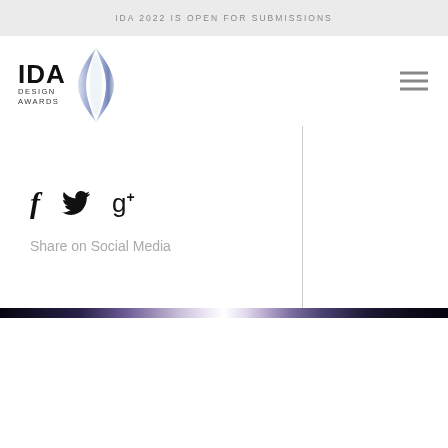IDA 2022 IS OPEN FOR SUBMISSIONS
[Figure (logo): IDA Design Awards logo with stylized blue lens/droplet shape and bold IDA text]
[Figure (other): Hamburger/menu icon with three horizontal lines]
f
Share on Social Media
[Figure (photo): Dark space/galaxy image strip at bottom]